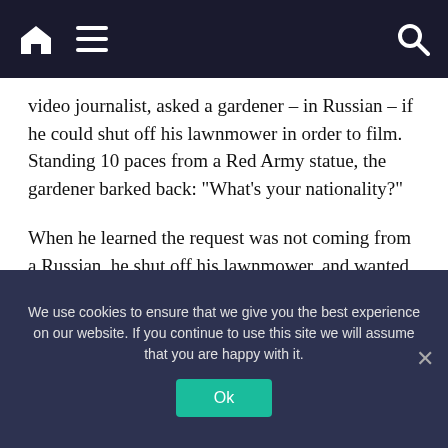Navigation bar with home, menu, and search icons
video journalist, asked a gardener – in Russian – if he could shut off his lawnmower in order to film. Standing 10 paces from a Red Army statue, the gardener barked back: “What’s your nationality?”
When he learned the request was not coming from a Russian, he shut off his lawnmower, and wanted to chat, at length.
Across town, at another World War II memorial, I stopped Sergiy, a 70-year-old retired engineer. A veteran of the Soviet Army, he spoke Russian well. He said he had used it
We use cookies to ensure that we give you the best experience on our website. If you continue to use this site we will assume that you are happy with it.